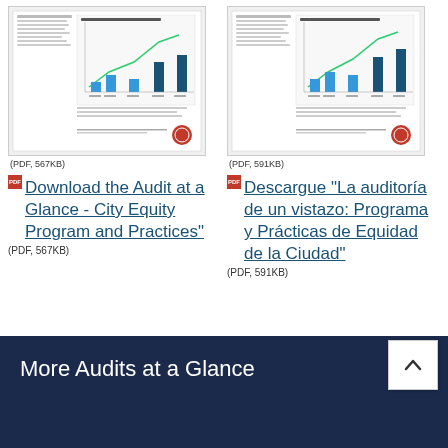[Figure (screenshot): Thumbnail of PDF document: Audit at a Glance - City Equity Program and Practices (PDF, 567KB)]
(PDF, 567KB)
[Figure (screenshot): Thumbnail of PDF document: Descargue La auditoría de un vistazo: Programa y Prácticas de Equidad de la Ciudad (PDF, 591KB)]
(PDF, 591KB)
Download the Audit at a Glance - City Equity Program and Practices" (PDF, 567KB)
Descargue "La auditoría de un vistazo: Programa y Prácticas de Equidad de la Ciudad" (PDF, 591KB)
More Audits at a Glance